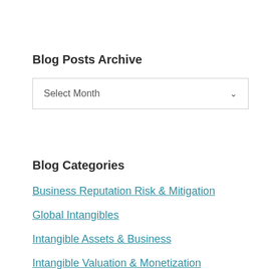Blog Posts Archive
Select Month
Blog Categories
Business Reputation Risk & Mitigation
Global Intangibles
Intangible Assets & Business
Intangible Valuation & Monetization